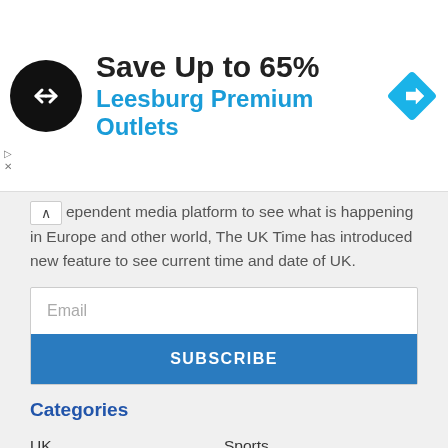[Figure (infographic): Advertisement banner: black circular logo with overlapping arrows, headline 'Save Up to 65%', subline 'Leesburg Premium Outlets', and a blue diamond navigation icon on the right. Small play and X icons on the left edge.]
ependent media platform to see what is happening in Europe and other world, The UK Time has introduced new feature to see current time and date of UK.
Email
SUBSCRIBE
Categories
UK
Sports
Business
Games
News
Tech
World
Travel
Entertainment
WKND